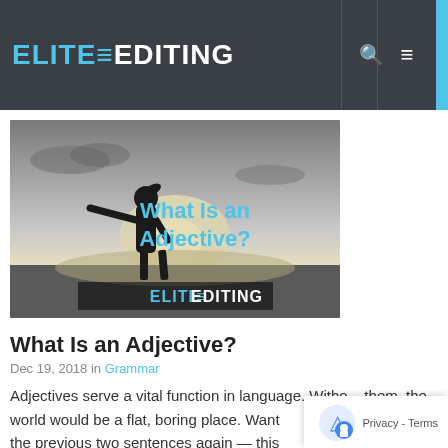ELITE≡EDITING
[Figure (photo): Black and white silhouette of a person with arms outstretched on a beach at sunset, with the text 'What Is an Adjective?' in blue and 'ELITE≡EDITING' logo overlaid on the image.]
What Is an Adjective?
Dec 19, 2018 in Grammar
Adjectives serve a vital function in language. Without them, the world would be a flat, boring place. Want proof? Read the previous two sentences again — this